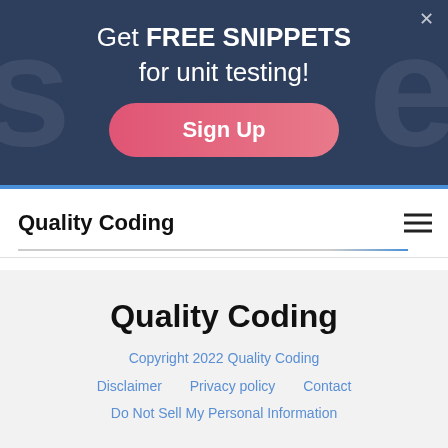[Figure (screenshot): Dark blue promotional banner with large background letters, showing 'Get FREE SNIPPETS for unit testing!' text and a pink 'Sign Up' button, with an X close button in top right]
Quality Coding
[Figure (screenshot): Website navigation bar with 'Quality Coding' logo on the left and hamburger menu icon on the right, with a blue underline accent]
Quality Coding
Copyright 2022 Quality Coding
Disclaimer
Privacy policy
Contact
Do Not Sell My Personal Information